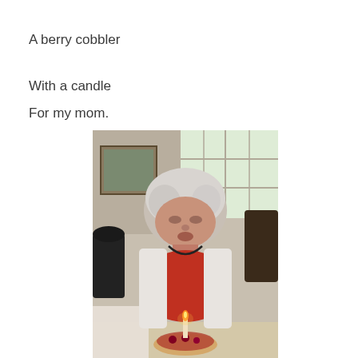A berry cobbler
With a candle
For my mom.
[Figure (photo): An elderly woman with white hair wearing a red shirt and white jacket, blowing out a candle on a small dessert (berry cobbler). She is seated at a table indoors with a window visible in the background.]